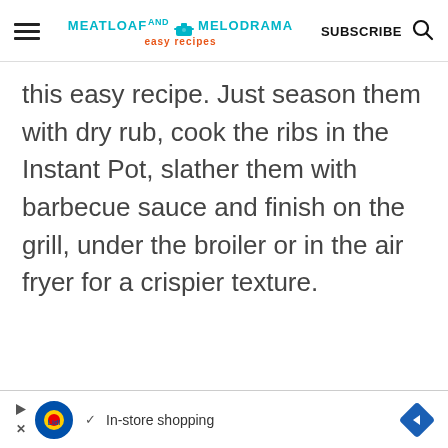MEATLOAF AND MELODRAMA easy recipes | SUBSCRIBE
this easy recipe. Just season them with dry rub, cook the ribs in the Instant Pot, slather them with barbecue sauce and finish on the grill, under the broiler or in the air fryer for a crispier texture.
[Figure (other): Advertisement banner for Lidl showing in-store shopping with play/close controls and navigation arrow]